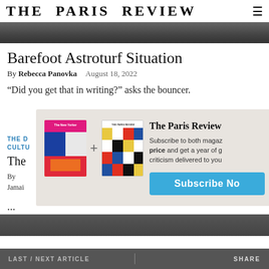THE PARIS REVIEW
[Figure (photo): Partial photo strip at top of page, showing people]
Barefoot Astroturf Situation
By Rebecca Panovka  August 18, 2022
“Did you get that in writing?” asks the bouncer.
[Figure (infographic): Subscription modal overlay with New Yorker and Paris Review magazine covers, plus sign, text: The Paris Review — Subscribe to both magazines at a special price and get a year of great fiction and criticism delivered to you. Subscribe Now button.]
THE D
CULTU
The
By
Jamai
...
LAST / NEXT ARTICLE    SHARE